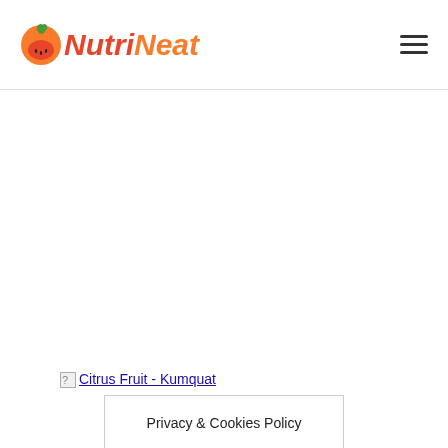NutriNeat
[Figure (other): Broken image placeholder with link text 'Citrus Fruit - Kumquat']
Privacy & Cookies Policy